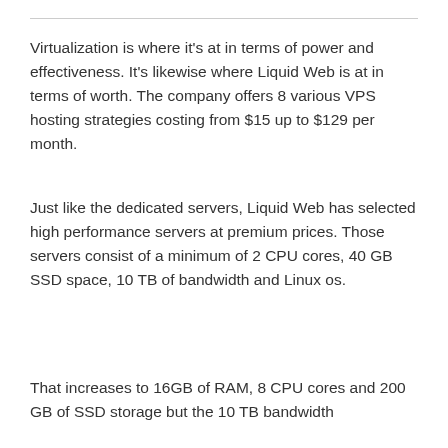Virtualization is where it's at in terms of power and effectiveness. It's likewise where Liquid Web is at in terms of worth. The company offers 8 various VPS hosting strategies costing from $15 up to $129 per month.
Just like the dedicated servers, Liquid Web has selected high performance servers at premium prices. Those servers consist of a minimum of 2 CPU cores, 40 GB SSD space, 10 TB of bandwidth and Linux os.
That increases to 16GB of RAM, 8 CPU cores and 200 GB of SSD storage but the 10 TB bandwidth